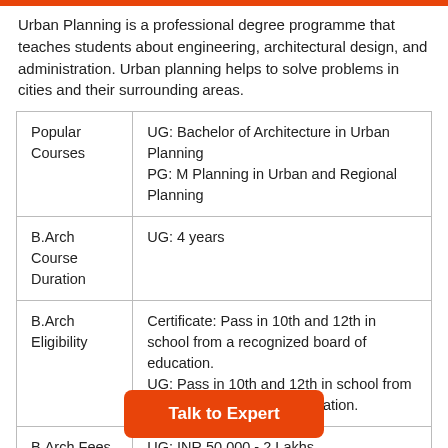Urban Planning is a professional degree programme that teaches students about engineering, architectural design, and administration. Urban planning helps to solve problems in cities and their surrounding areas.
|  |  |
| --- | --- |
| Popular Courses | UG: Bachelor of Architecture in Urban Planning
PG: M Planning in Urban and Regional Planning |
| B.Arch Course Duration | UG: 4 years |
| B.Arch Eligibility | Certificate: Pass in 10th and 12th in school from a recognized board of education.
UG: Pass in 10th and 12th in school from a recognized board of education. |
| B.Arch Fees | UG: INR 50,000 - 2 Lakhs |
Talk to Expert